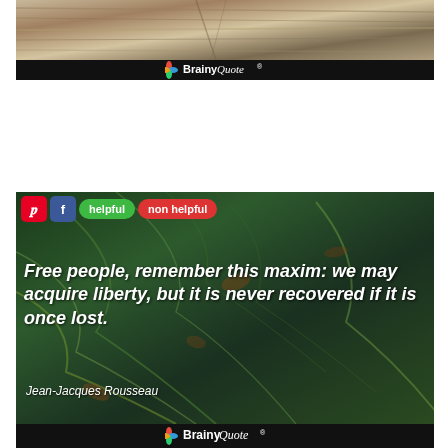[Figure (screenshot): BrainyQuote banner with wood texture background and BrainyQuote logo on black bar]
[Figure (screenshot): BrainyQuote quote card with green marble background. Quote text: 'Free people, remember this maxim: we may acquire liberty, but it is never recovered if it is once lost.' attributed to Jean-Jacques Rousseau. Includes Pinterest, Facebook, helpful and non helpful buttons.]